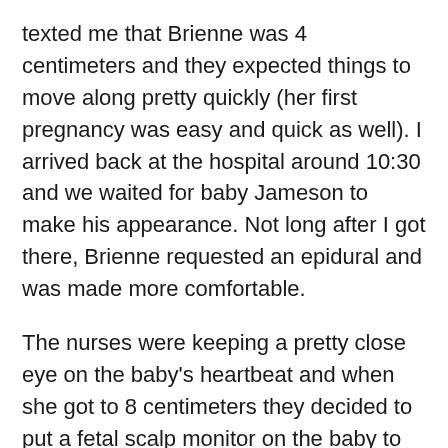texted me that Brienne was 4 centimeters and they expected things to move along pretty quickly (her first pregnancy was easy and quick as well). I arrived back at the hospital around 10:30 and we waited for baby Jameson to make his appearance. Not long after I got there, Brienne requested an epidural and was made more comfortable.
The nurses were keeping a pretty close eye on the baby's heartbeat and when she got to 8 centimeters they decided to put a fetal scalp monitor on the baby to get more accurate measurements on his heart. Everything stalled for a few hours and then around 5 pm a few nurses came into the room, and then a few more... and then all of a sudden there were 15 nurses in the room disconnecting wires and moving furniture around